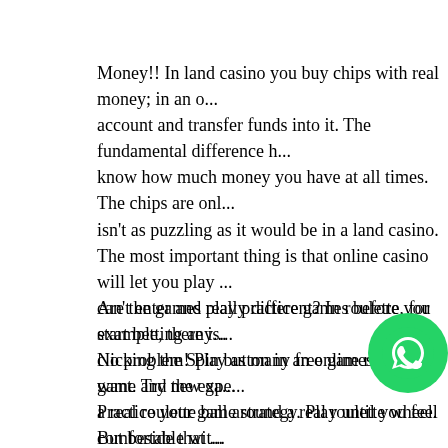Money!! In land casino you buy chips with real money; in an o... account and transfer funds into it. The fundamental difference h... know how much money you have at all times. The chips are onl... isn't as puzzling as it would be in a land casino. The most important thing is that online casino will let you play ... can't enter and play practice games before you start betting any... No problem! Play as many free games as you want. Try new ga... Practice your game strategy. Play until you feel comfortable wit... understand all the rules and secure with your strategy. In an onli... games for free, for as long as you want. Then, you can gamble n... that you want to. 우리카지노
Are the games really different? In roulette, for example, there is... clicking the Spin button in an online roulette game and the expe... a real roulette ball around a real roulette wheel. But beside that ... When you play roulette online, you play with a Rando... abe... that, over the long run, each roulette number will hit 1...38... wheel. So the differences between them are really a matter of n...
[Figure (other): WhatsApp contact button (green circle with phone/chat icon)]